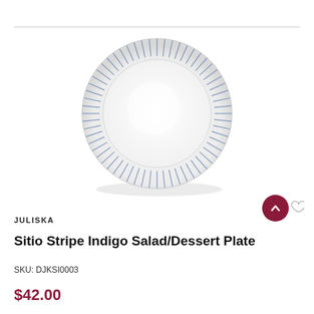[Figure (photo): A white ceramic salad/dessert plate with blue and white stripe pattern along the rim, photographed from above on a white background.]
JULISKA
Sitio Stripe Indigo Salad/Dessert Plate
SKU: DJKSI0003
$42.00